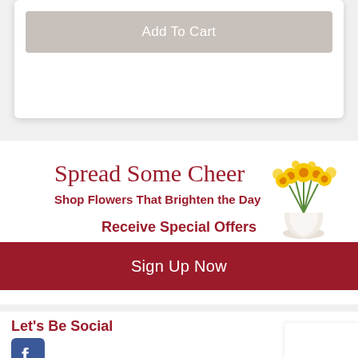Add To Cart
Spread Some Cheer
Shop Flowers That Brighten the Day
[Figure (illustration): Yellow flowers in a white vase]
Receive Special Offers
Sign Up Now
Let's Be Social
[Figure (logo): Facebook logo icon, blue square with white f]